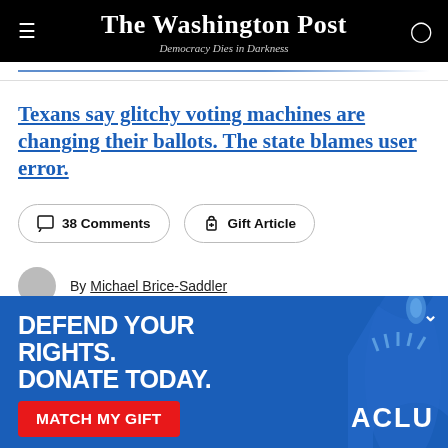The Washington Post — Democracy Dies in Darkness
Texans say glitchy voting machines are changing their ballots. The state blames user error.
38 Comments
Gift Article
By Michael Brice-Saddler
[Figure (infographic): ACLU advertisement banner: 'DEFEND YOUR RIGHTS. DONATE TODAY.' with a red 'MATCH MY GIFT' button and Statue of Liberty image on blue background.]